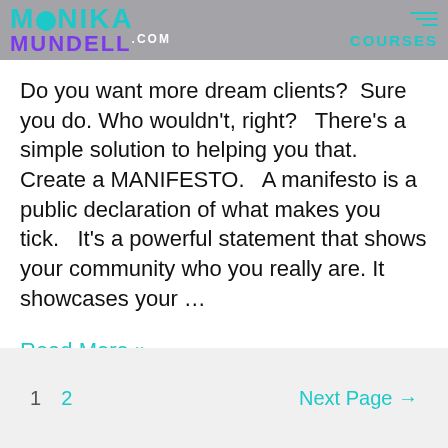Monika Mundell .com — COURSES
Do you want more dream clients?   Sure you do. Who wouldn't, right?   There's a simple solution to helping you that.   Create a MANIFESTO.   A manifesto is a public declaration of what makes you tick.   It's a powerful statement that shows your community who you really are. It showcases your …
Read More »
1   2   Next Page →